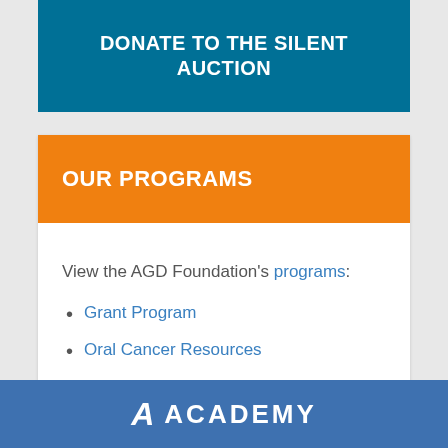DONATE TO THE SILENT AUCTION
OUR PROGRAMS
View the AGD Foundation's programs:
Grant Program
Oral Cancer Resources
Volunteers Needed for Oral Cancer Screenings
ACADEMY